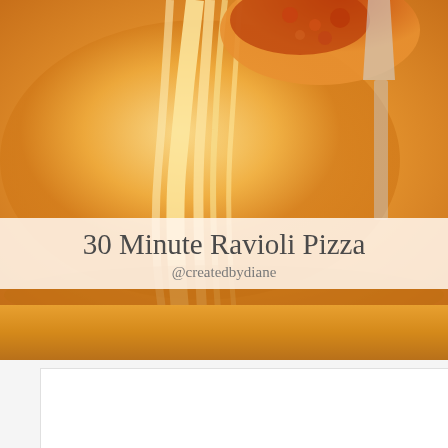[Figure (photo): Close-up food photo of cheesy ravioli pizza being lifted, with melted cheese stretching, warm orange and golden tones]
30 Minute Ravioli Pizza
@createdbydiane